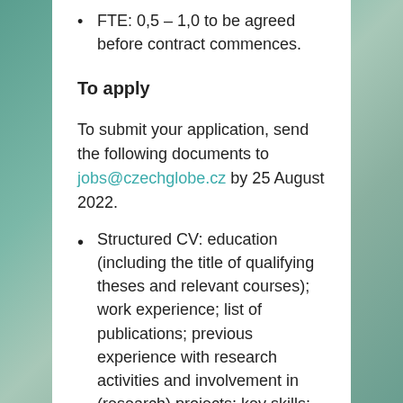FTE: 0,5 – 1,0 to be agreed before contract commences.
To apply
To submit your application, send the following documents to jobs@czechglobe.cz by 25 August 2022.
Structured CV: education (including the title of qualifying theses and relevant courses); work experience; list of publications; previous experience with research activities and involvement in (research) projects; key skills; level of language skills; contact information; 2 references.
Cover letter, outlining your suitability for the post specification provided above